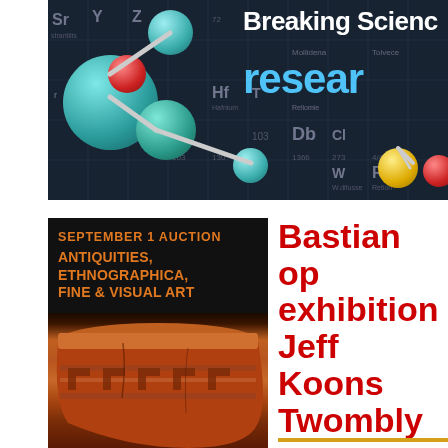[Figure (photo): Science banner showing molecular model balls (teal, red, yellow) over a dark blue periodic table background with text 'Breaking Science' and 'resear' (partially cropped) in bold blue]
[Figure (photo): Auction house advertisement on black background: 'SEPTEMBER 1 AUCTION' in orange bold text, 'ANTIQUITIES, ETHNOGRAPHICA, FINE & VISUAL ART' in orange, below which is a close-up photo of an ancient red-orange ceramic pot or vessel with geometric relief patterns]
Bastian op exhibition Jeff Koons Twombly